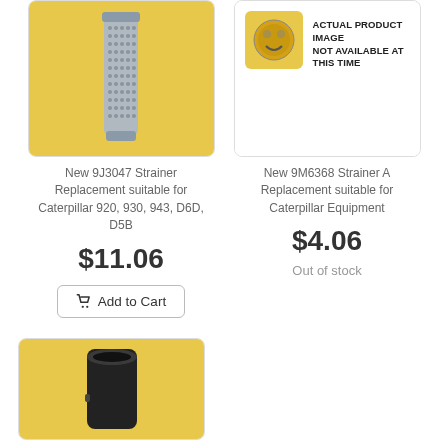[Figure (photo): Cylindrical mesh strainer filter on yellow background]
[Figure (photo): Caterpillar logo placeholder image with text: ACTUAL PRODUCT IMAGE NOT AVAILABLE AT THIS TIME]
New 9J3047 Strainer Replacement suitable for Caterpillar 920, 930, 943, D6D, D5B
$11.06
Add to Cart
New 9M6368 Strainer A Replacement suitable for Caterpillar Equipment
$4.06
Out of stock
[Figure (photo): Black cylindrical part on yellow background, partially visible]